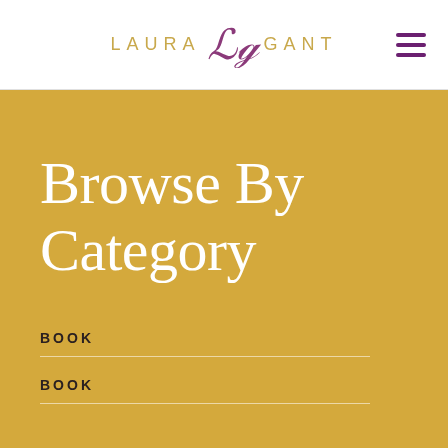LAURA LG GANT
Browse By Category
BOOK
BOOK